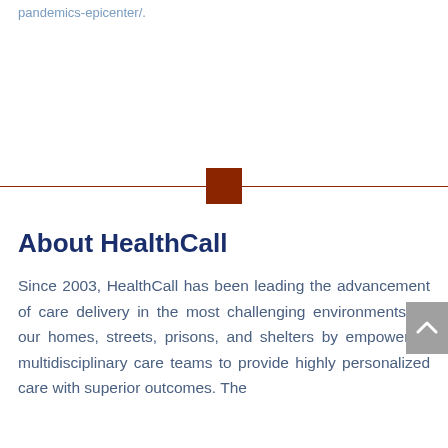pandemics-epicenter/.
About HealthCall
Since 2003, HealthCall has been leading the advancement of care delivery in the most challenging environments, in our homes, streets, prisons, and shelters by empowering multidisciplinary care teams to provide highly personalized care with superior outcomes. The